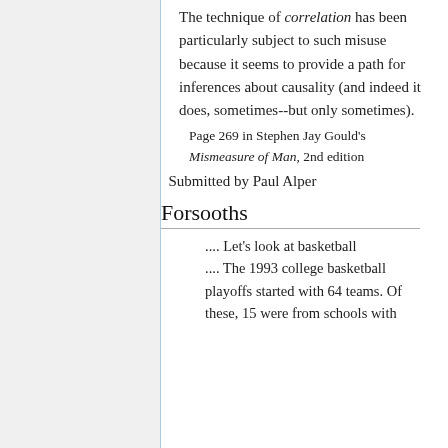The technique of correlation has been particularly subject to such misuse because it seems to provide a path for inferences about causality (and indeed it does, sometimes--but only sometimes).
Page 269 in Stephen Jay Gould's Mismeasure of Man, 2nd edition
Submitted by Paul Alper
Forsooths
.... Let's look at basketball .... The 1993 college basketball playoffs started with 64 teams. Of these, 15 were from schools with